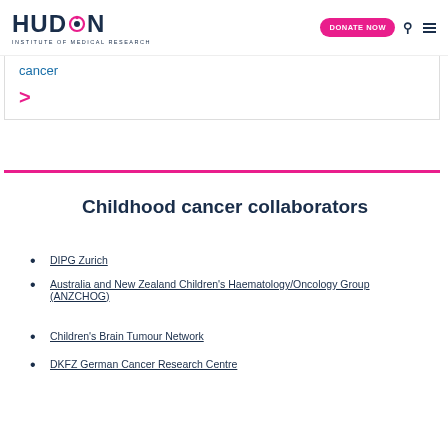HUDSON INSTITUTE OF MEDICAL RESEARCH | DONATE NOW
cancer
>
Childhood cancer collaborators
DIPG Zurich
Australia and New Zealand Children's Haematology/Oncology Group (ANZCHOG)
Children's Brain Tumour Network
DKFZ German Cancer Research Centre